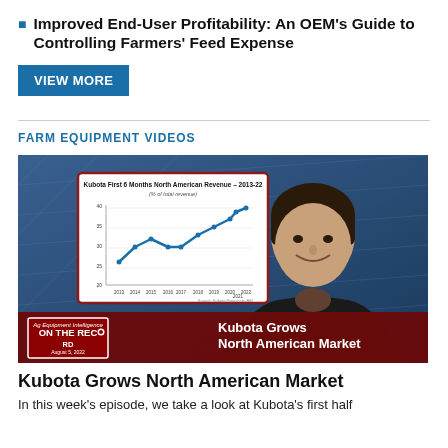Improved End-User Profitability: An OEM's Guide to Controlling Farmers' Feed Expense
VIEW MORE
FARM EQUIPMENT VIDEOS
[Figure (photo): Video thumbnail showing a female news anchor on a professional set with a line chart titled 'Kubota First 6 Months North American Revenue – 2013-22 (% of total revenue)' inset in the upper left. A lower bar reads 'Ag Equipment Intelligence ON THE RECORD August 5, 2022' and 'Kubota Grows North American Market'.]
Kubota Grows North American Market
In this week's episode, we take a look at Kubota's first half